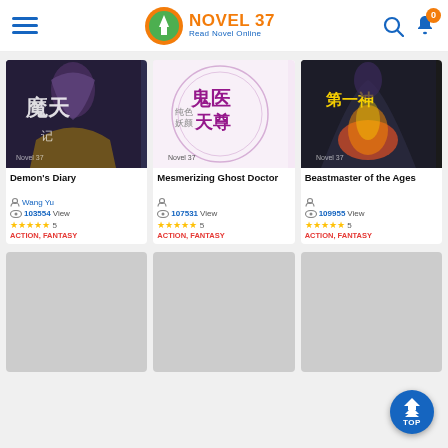NOVEL 37 - Read Novel Online
[Figure (screenshot): Novel book cover for Demon's Diary with Chinese fantasy artwork and Novel 37 watermark]
Demon's Diary
Wang Yu
103554 View
★★★★★ 5
ACTION, FANTASY
[Figure (screenshot): Novel book cover for Mesmerizing Ghost Doctor with Chinese fantasy artwork and Novel 37 watermark]
Mesmerizing Ghost Doctor
107531 View
★★★★★ 5
ACTION, FANTASY
[Figure (screenshot): Novel book cover for Beastmaster of the Ages with Chinese fantasy artwork and Novel 37 watermark]
Beastmaster of the Ages
109955 View
★★★★★ 5
ACTION, FANTASY